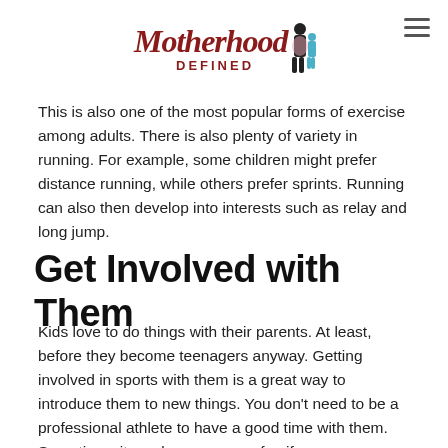Motherhood Defined
This is also one of the most popular forms of exercise among adults. There is also plenty of variety in running. For example, some children might prefer distance running, while others prefer sprints. Running can also then develop into interests such as relay and long jump.
Get Involved with Them
Kids love to do things with their parents. At least, before they become teenagers anyway. Getting involved in sports with them is a great way to introduce them to new things. You don't need to be a professional athlete to have a good time with them. Sometimes it can be even more fun if you are